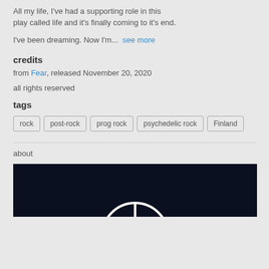All my life, I've had a supporting role in this play called life and it's finally coming to it's end.
I've been dreaming. Now I'm...  see more
credits
from Fear, released November 20, 2020
all rights reserved
tags
rock
post-rock
prog rock
psychedelic rock
Finland
about
[Figure (photo): Dark navy/black background image showing a partial peace symbol (circle with lines) in white, partially visible at the bottom of the image area.]